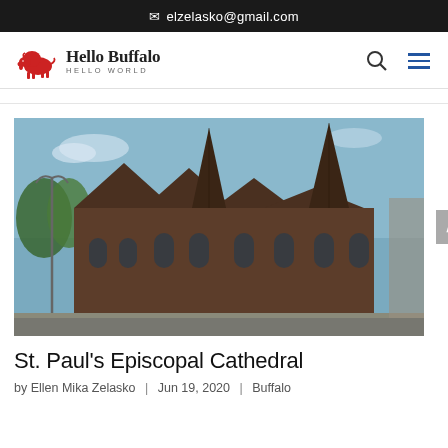✉ elzelasko@gmail.com
[Figure (logo): Hello Buffalo Hello World logo with red bison icon]
[Figure (photo): Exterior photograph of St. Paul's Episcopal Cathedral in Buffalo, a Gothic Revival red brick church with tall spires against a blue sky]
St. Paul's Episcopal Cathedral
by Ellen Mika Zelasko | Jun 19, 2020 | Buffalo